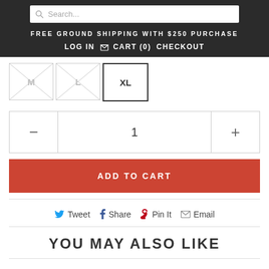Search... | FREE GROUND SHIPPING WITH $250 PURCHASE | LOG IN | CART (0) | CHECKOUT
[Figure (screenshot): Size selector showing M and L as crossed out (unavailable) and XL as selected/active]
1 (quantity selector with minus and plus buttons)
ADD TO CART
Tweet  Share  Pin It  Email
YOU MAY ALSO LIKE